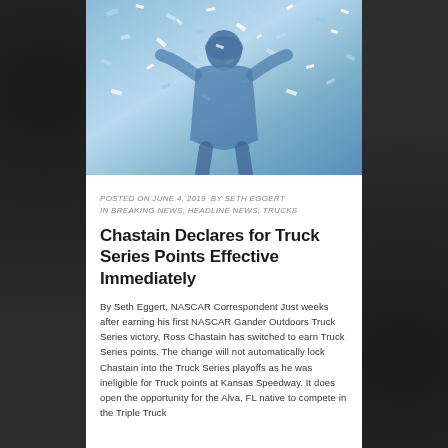[Figure (photo): A racing driver in blue/white suit celebrating with confetti falling around them]
POSTED ON JUNE 4, 2019  BY SETH EGGERT IN BREAKING NEWS, HEADLINE NEWS, TRUCKS
Chastain Declares for Truck Series Points Effective Immediately
By Seth Eggert, NASCAR Correspondent Just weeks after earning his first NASCAR Gander Outdoors Truck Series victory, Ross Chastain has switched to earn Truck Series points. The change will not automatically lock Chastain into the Truck Series playoffs as he was ineligible for Truck points at Kansas Speedway. It does open the opportunity for the Alva, FL native to compete in the Triple Truck